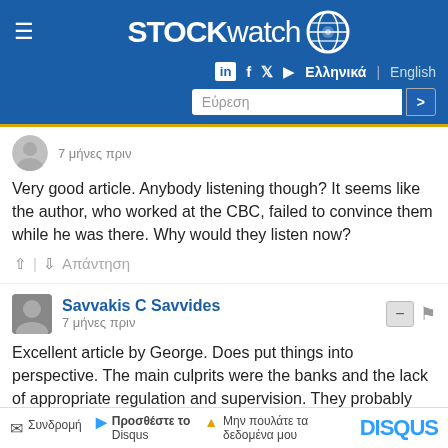STOCKwatch — Ελληνικά | English
7 μήνες πριν

Very good article. Anybody listening though? It seems like the author, who worked at the CBC, failed to convince them while he was there. Why would they listen now?
Savvakis C Savvides
7 μήνες πριν

Excellent article by George. Does put things into perspective. The main culprits were the banks and the lack of appropriate regulation and supervision. They probably still are and nothing much has changed I am sorry to say.
Συνδρομή | Προσθέστε το Disqus | Μην πουλάτε τα δεδομένα μου | DISQUS